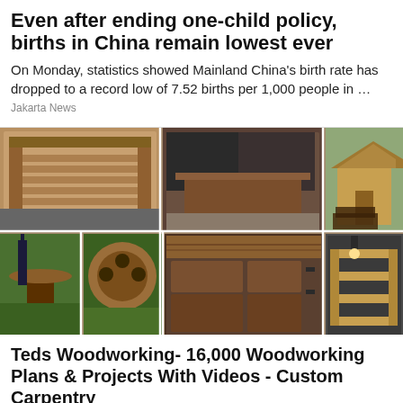Even after ending one-child policy, births in China remain lowest ever
On Monday, statistics showed Mainland China's birth rate has dropped to a record low of 7.52 births per 1,000 people in …
Jakarta News
[Figure (photo): Collage of 6 woodworking project photos: wooden bed frame, lift-top coffee table, wooden shed/chicken coop, outdoor wine bottle holder, wooden bar counter, outdoor wall-mounted wooden shelving unit]
Teds Woodworking- 16,000 Woodworking Plans & Projects With Videos - Custom Carpentry